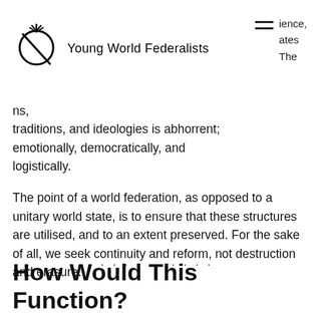Young World Federalists
ns, traditions, and ideologies is abhorrent; emotionally, democratically, and logistically.
The point of a world federation, as opposed to a unitary world state, is to ensure that these structures are utilised, and to an extent preserved. For the sake of all, we seek continuity and reform, not destruction and erasure.
..........
How Would This Function?